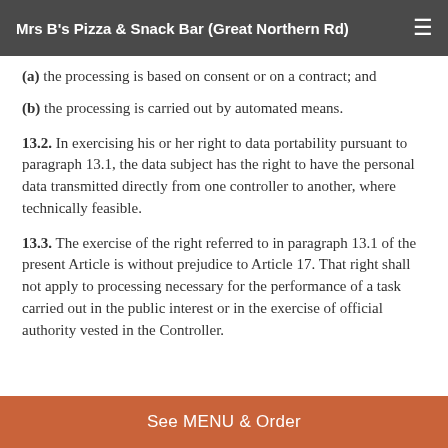Mrs B's Pizza & Snack Bar (Great Northern Rd)
(a) the processing is based on consent or on a contract; and
(b) the processing is carried out by automated means.
13.2. In exercising his or her right to data portability pursuant to paragraph 13.1, the data subject has the right to have the personal data transmitted directly from one controller to another, where technically feasible.
13.3. The exercise of the right referred to in paragraph 13.1 of the present Article is without prejudice to Article 17. That right shall not apply to processing necessary for the performance of a task carried out in the public interest or in the exercise of official authority vested in the Controller.
See MENU & Order